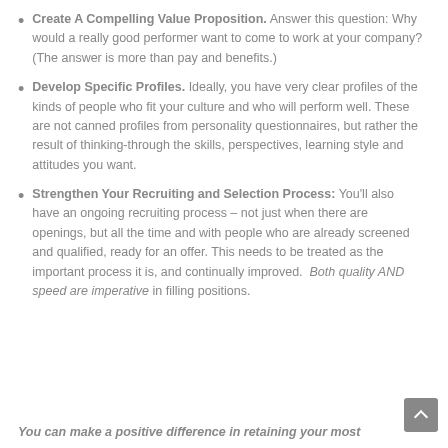Create A Compelling Value Proposition. Answer this question: Why would a really good performer want to come to work at your company? (The answer is more than pay and benefits.)
Develop Specific Profiles. Ideally, you have very clear profiles of the kinds of people who fit your culture and who will perform well. These are not canned profiles from personality questionnaires, but rather the result of thinking-through the skills, perspectives, learning style and attitudes you want.
Strengthen Your Recruiting and Selection Process: You'll also have an ongoing recruiting process – not just when there are openings, but all the time and with people who are already screened and qualified, ready for an offer. This needs to be treated as the important process it is, and continually improved. Both quality AND speed are imperative in filling positions.
You can make a positive difference in retaining your most